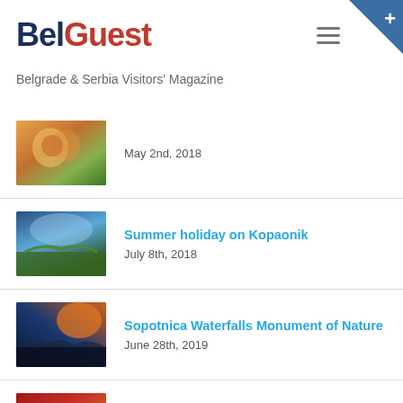BelGuest
Belgrade & Serbia Visitors' Magazine
May 2nd, 2018
Summer holiday on Kopaonik
July 8th, 2018
Sopotnica Waterfalls Monument of Nature
June 28th, 2019
Serbian slava feast on the UNESCO list
July 4th, 2018